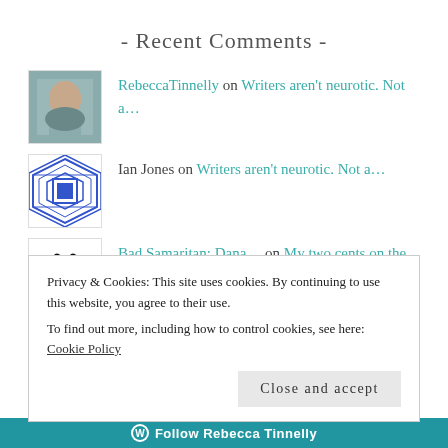- Recent Comments -
RebeccaTinnelly on Writers aren't neurotic. Not a...
Ian Jones on Writers aren't neurotic. Not a...
Bad Samaritan: Dana... on My two cents on the Staunch Pr...
Helen on One-Star Company
Privacy & Cookies: This site uses cookies. By continuing to use this website, you agree to their use.
To find out more, including how to control cookies, see here: Cookie Policy
Close and accept
Follow Rebecca Tinnelly